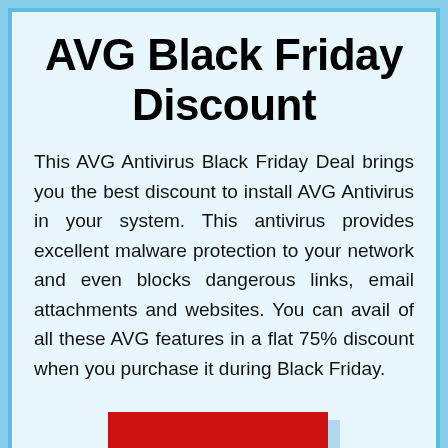AVG Black Friday Discount
This AVG Antivirus Black Friday Deal brings you the best discount to install AVG Antivirus in your system. This antivirus provides excellent malware protection to your network and even blocks dangerous links, email attachments and websites. You can avail of all these AVG features in a flat 75% discount when you purchase it during Black Friday.